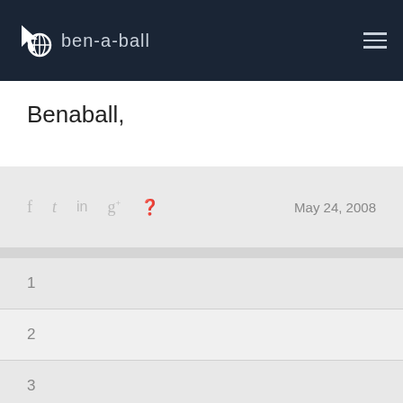ben-a-ball
Benaball,
May 24, 2008
1
2
3